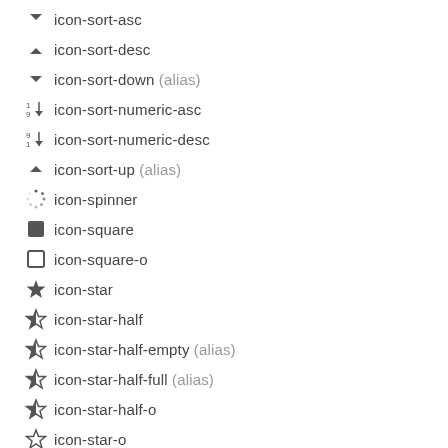icon-sort-asc
icon-sort-desc
icon-sort-down (alias)
icon-sort-numeric-asc
icon-sort-numeric-desc
icon-sort-up (alias)
icon-spinner
icon-square
icon-square-o
icon-star
icon-star-half
icon-star-half-empty (alias)
icon-star-half-full (alias)
icon-star-half-o
icon-star-o
icon-subscript